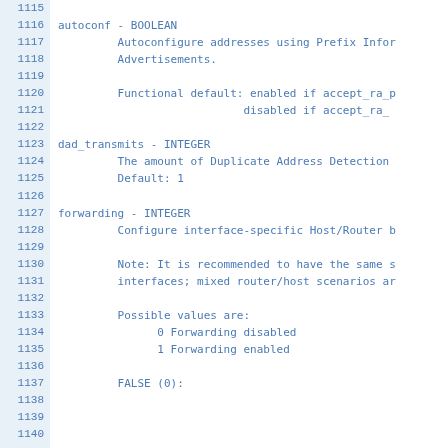1115
1116 autoconf - BOOLEAN
1117         Autoconfigure addresses using Prefix Infor
1118         Advertisements.
1119
1120         Functional default: enabled if accept_ra_p
1121                             disabled if accept_ra_
1122
1123 dad_transmits - INTEGER
1124         The amount of Duplicate Address Detection
1125         Default: 1
1126
1127 forwarding - INTEGER
1128         Configure interface-specific Host/Router b
1129
1130         Note: It is recommended to have the same s
1131         interfaces; mixed router/host scenarios ar
1132
1133         Possible values are:
1134               0 Forwarding disabled
1135               1 Forwarding enabled
1136
1137         FALSE (0):